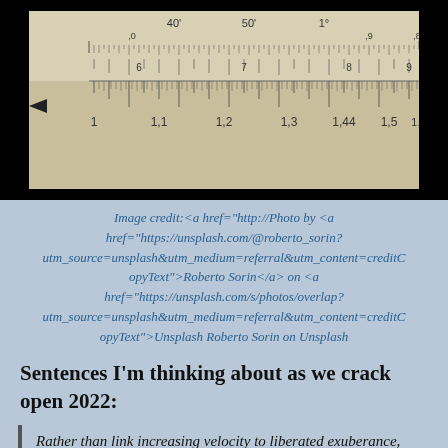[Figure (photo): Close-up photograph of a ruler or measuring scale showing markings including 40', 50', 1°, and numeric scale 1 through 1.6, on a light wooden background, displayed against a black background.]
Image credit:<a href="http://Photo by <a href="https://unsplash.com/@roberto_sorin?utm_source=unsplash&utm_medium=referral&utm_content=creditCopyText">Roberto Sorin</a> on <a href="https://unsplash.com/s/photos/overlap?utm_source=unsplash&utm_medium=referral&utm_content=creditCopyText">Unsplash Roberto Sorin on Unsplash
Sentences I'm thinking about as we crack open 2022:
Rather than link increasing velocity to liberated exuberance, Virilio, in Speed and Politics, suggests that